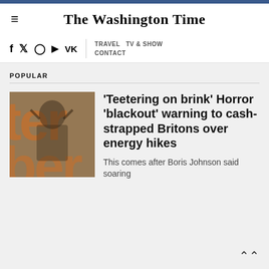The Washington Time
POPULAR
[Figure (photo): Person with hands on head, overlapping orange/brown text letters in background]
'Teetering on brink' Horror 'blackout' warning to cash-strapped Britons over energy hikes
This comes after Boris Johnson said soaring